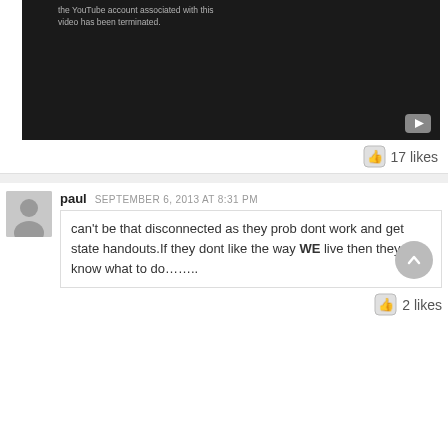[Figure (screenshot): Embedded YouTube video player showing error: the YouTube account associated with this video has been terminated. Dark background with YouTube play icon in bottom right.]
17 likes
paul  SEPTEMBER 6, 2013 AT 8:31 PM
can't be that disconnected as they prob dont work and get state handouts.If they dont like the way WE live then they know what to do……..
2 likes